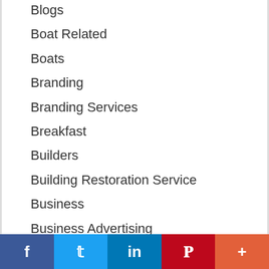Blogs
Boat Related
Boats
Branding
Branding Services
Breakfast
Builders
Building Restoration Service
Business
Business Advertising
Business Consulting
Business Listing Services
Business Marketing
Business Products
f  t  in  P  +